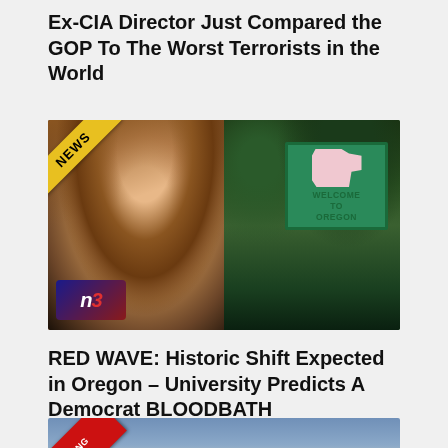Ex-CIA Director Just Compared the GOP To The Worst Terrorists in the World
[Figure (photo): Left: Woman with auburn hair (news correspondent) with NB logo overlay and NEWS badge. Right: Welcome to Oregon road sign in forested setting.]
RED WAVE: Historic Shift Expected in Oregon – University Predicts A Democrat BLOODBATH
[Figure (photo): Outdoor photo with Breaking News badge overlay, partially visible, showing a figure in a mask against a cloudy sky background.]